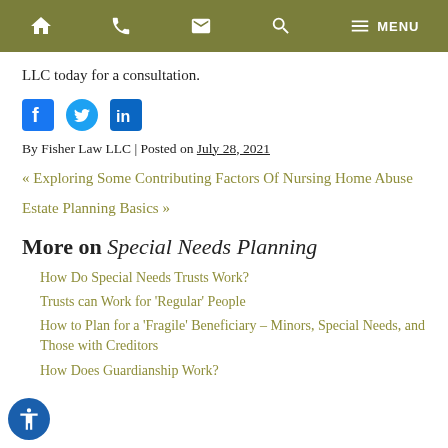Navigation bar with home, phone, email, search, and menu icons
LLC today for a consultation.
[Figure (infographic): Social media icons: Facebook (blue square with f), Twitter (blue circle with bird), LinkedIn (blue square with in)]
By Fisher Law LLC | Posted on July 28, 2021
« Exploring Some Contributing Factors Of Nursing Home Abuse
Estate Planning Basics »
More on Special Needs Planning
How Do Special Needs Trusts Work?
Trusts can Work for 'Regular' People
How to Plan for a 'Fragile' Beneficiary – Minors, Special Needs, and Those with Creditors
How Does Guardianship Work?